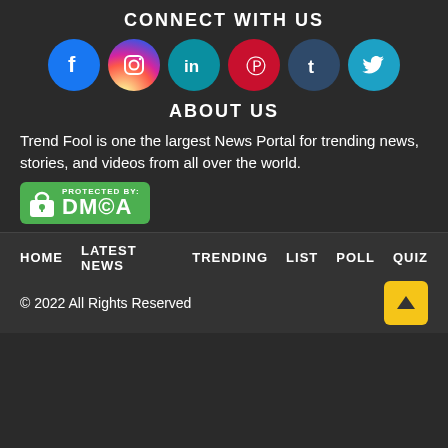CONNECT WITH US
[Figure (infographic): Six social media icons in circles: Facebook (blue), Instagram (gradient), LinkedIn (teal), Pinterest (red), Tumblr (dark blue), Twitter (cyan)]
ABOUT US
Trend Fool is one the largest News Portal for trending news, stories, and videos from all over the world.
[Figure (logo): DMCA Protected By badge — green background with lock icon and DMCA text]
HOME  LATEST NEWS  TRENDING  LIST  POLL  QUIZ
© 2022 All Rights Reserved